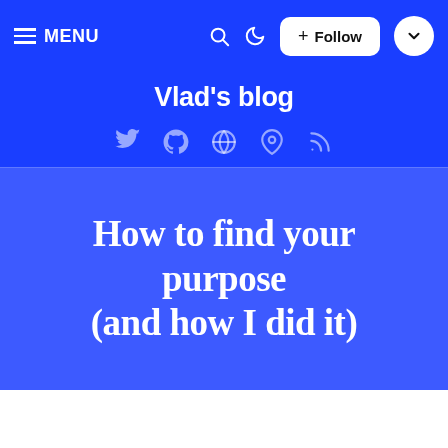≡ MENU
Vlad's blog
[Figure (illustration): Social media icons: Twitter, GitHub, Globe, Location pin, RSS feed]
How to find your purpose (and how I did it)